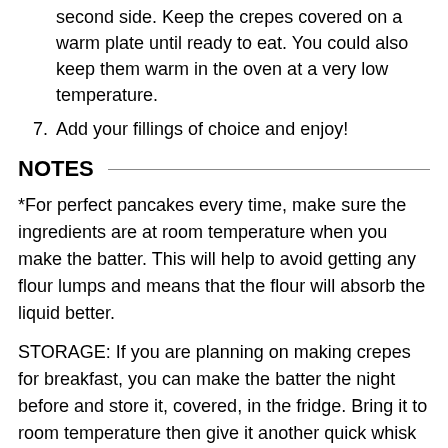second side. Keep the crepes covered on a warm plate until ready to eat. You could also keep them warm in the oven at a very low temperature.
7. Add your fillings of choice and enjoy!
NOTES
*For perfect pancakes every time, make sure the ingredients are at room temperature when you make the batter. This will help to avoid getting any flour lumps and means that the flour will absorb the liquid better.
STORAGE: If you are planning on making crepes for breakfast, you can make the batter the night before and store it, covered, in the fridge. Bring it to room temperature then give it another quick whisk before use. Once cooked, the crepes will refrigerate for a couple of days if tightly wrapped. You can eat them cold or reheat them in a pan, or you can give them a blast of heat in the microwave.
You can also freeze them for up to 3 months...